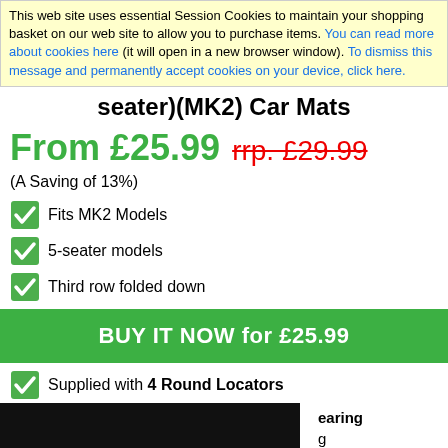This web site uses essential Session Cookies to maintain your shopping basket on our web site to allow you to purchase items. You can read more about cookies here (it will open in a new browser window). To dismiss this message and permanently accept cookies on your device, click here.
seater)(MK2) Car Mats
From £25.99  rrp. £29.99
(A Saving of 13%)
Fits MK2 Models
5-seater models
Third row folded down
BUY IT NOW for £25.99
Supplied with 4 Round Locators
earing
g
EM Mats
Quick Delivery normally just 3 to 9 days
(A preview of the colour you have chosen: